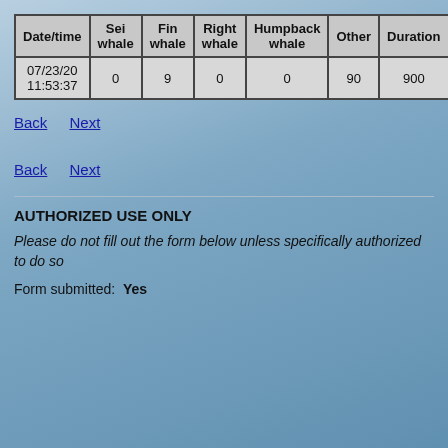| Date/time | Sei whale | Fin whale | Right whale | Humpback whale | Other | Duration |
| --- | --- | --- | --- | --- | --- | --- |
| 07/23/20 11:53:37 | 0 | 9 | 0 | 0 | 90 | 900 |
Back   Next
Back   Next
AUTHORIZED USE ONLY
Please do not fill out the form below unless specifically authorized to do so
Form submitted:  Yes